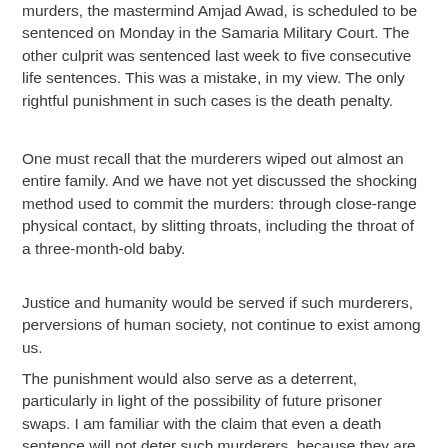murders, the mastermind Amjad Awad, is scheduled to be sentenced on Monday in the Samaria Military Court. The other culprit was sentenced last week to five consecutive life sentences. This was a mistake, in my view. The only rightful punishment in such cases is the death penalty.
One must recall that the murderers wiped out almost an entire family. And we have not yet discussed the shocking method used to commit the murders: through close-range physical contact, by slitting throats, including the throat of a three-month-old baby.
Justice and humanity would be served if such murderers, perversions of human society, not continue to exist among us.
The punishment would also serve as a deterrent, particularly in light of the possibility of future prisoner swaps. I am familiar with the claim that even a death sentence will not deter such murderers, because they are often willing to